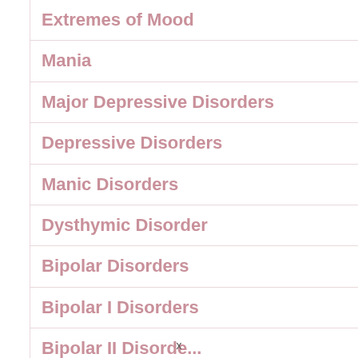Extremes of Mood
Mania
Major Depressive Disorders
Depressive Disorders
Manic Disorders
Dysthymic Disorder
Bipolar Disorders
Bipolar I Disorders
Bipolar II Disorders
x